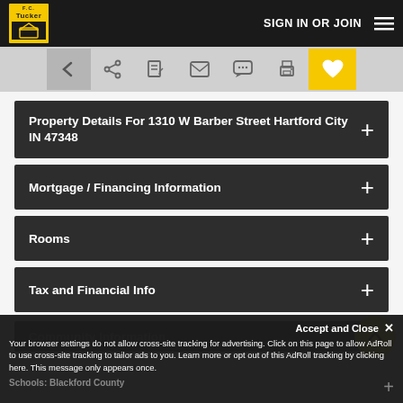SIGN IN OR JOIN
[Figure (screenshot): Tucker real estate website toolbar with back, share, edit, email, message, print, and favorite (heart) buttons]
Property Details For 1310 W Barber Street Hartford City IN 47348
Mortgage / Financing Information
Rooms
Tax and Financial Info
Community Information
Accept and Close ✕
Your browser settings do not allow cross-site tracking for advertising. Click on this page to allow AdRoll to use cross-site tracking to tailor ads to you. Learn more or opt out of this AdRoll tracking by clicking here. This message only appears once.
Schools: Blackford County